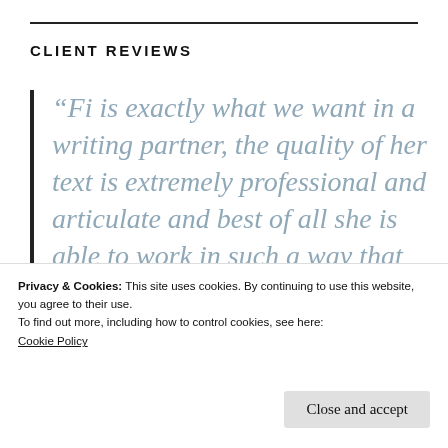CLIENT REVIEWS
“Fi is exactly what we want in a writing partner, the quality of her text is extremely professional and articulate and best of all she is able to work in such a way that
Privacy & Cookies: This site uses cookies. By continuing to use this website, you agree to their use.
To find out more, including how to control cookies, see here:
Cookie Policy
Close and accept